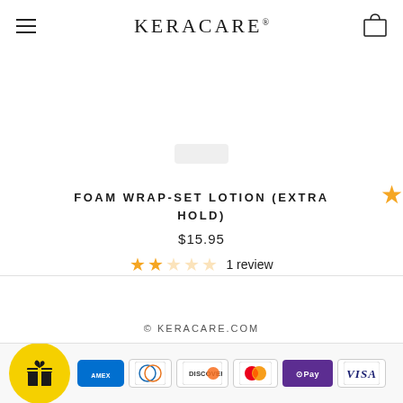KeraCare
FOAM WRAP-SET LOTION (EXTRA HOLD)
$15.95
1 review
© KERACARE.COM
[Figure (logo): Payment method icons: Amex, Diners Club, Discover, Mastercard, GPay/OPay, Visa]